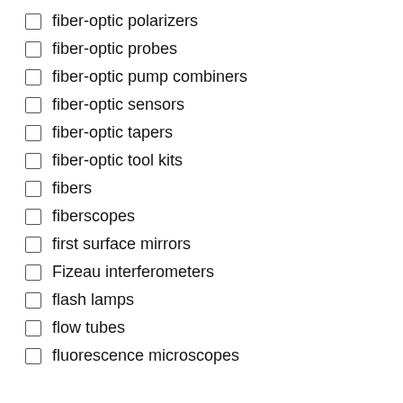fiber-optic polarizers
fiber-optic probes
fiber-optic pump combiners
fiber-optic sensors
fiber-optic tapers
fiber-optic tool kits
fibers
fiberscopes
first surface mirrors
Fizeau interferometers
flash lamps
flow tubes
fluorescence microscopes